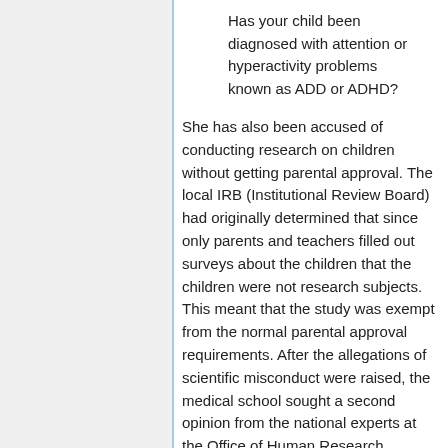Has your child been diagnosed with attention or hyperactivity problems known as ADD or ADHD?
She has also been accused of conducting research on children without getting parental approval. The local IRB (Institutional Review Board) had originally determined that since only parents and teachers filled out surveys about the children that the children were not research subjects. This meant that the study was exempt from the normal parental approval requirements. After the allegations of scientific misconduct were raised, the medical school sought a second opinion from the national experts at the Office of Human Research Protections. This office ruled that the